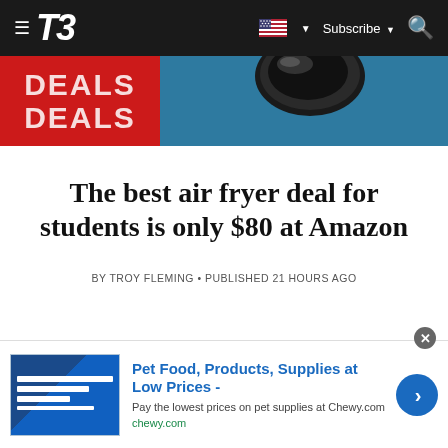T3 — Subscribe
[Figure (photo): Hero banner with red block showing 'DEALS DEALS' text in white and a shiny black air fryer appliance on a blue-grey background]
The best air fryer deal for students is only $80 at Amazon
BY TROY FLEMING • PUBLISHED 21 HOURS AGO
[Figure (screenshot): Advertisement banner: Pet Food, Products, Supplies at Low Prices - chewy.com with a blue call-to-action button]